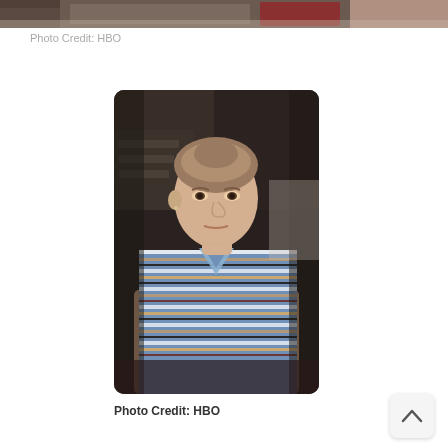[Figure (photo): Partial photo strip at top of page showing dark background scene]
Photo Credit: HBO
[Figure (photo): Portrait photo of a woman with her arms crossed, wearing a blue and white striped long-sleeve shirt, with a serious expression, set against a dark blurred background]
Photo Credit: HBO